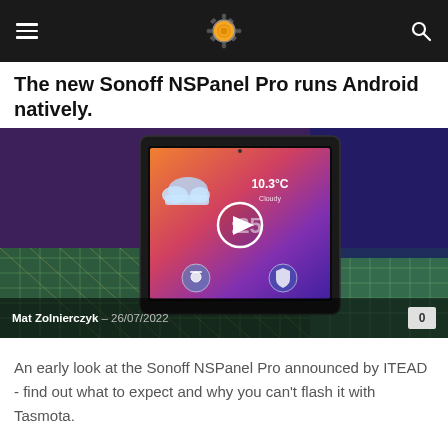The new Sonoff NSPanel Pro runs Android natively.
The new Sonoff NSPanel Pro runs Android natively.
[Figure (screenshot): A tablet-like device (Sonoff NSPanel Pro) displaying a smart home UI with weather showing 10.3°C Cloudy, along with a video play button overlay. The device sits on a green cutting mat with colorful ambient lighting in the background.]
Mat Zolnierczyk – 26/07/2022
An early look at the Sonoff NSPanel Pro announced by ITEAD - find out what to expect and why you can't flash it with Tasmota.